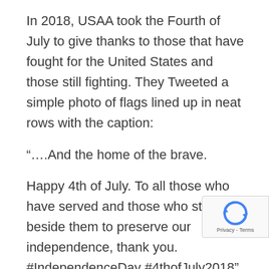In 2018, USAA took the Fourth of July to give thanks to those that have fought for the United States and those still fighting. They Tweeted a simple photo of flags lined up in neat rows with the caption:
“….And the home of the brave.
Happy 4th of July. To all those who have served and those who stood beside them to preserve our independence, thank you. #IndependenceDay #4thofJuly2018”
Much like Jamba Juice, USAA proved that simple is not only sometimes better, but also all the more powerful. Avoiding coming off as gimmicky is a good way to earn the respect of customers both old and